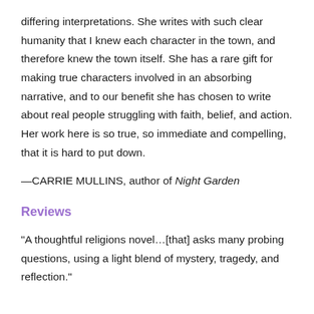differing interpretations. She writes with such clear humanity that I knew each character in the town, and therefore knew the town itself. She has a rare gift for making true characters involved in an absorbing narrative, and to our benefit she has chosen to write about real people struggling with faith, belief, and action. Her work here is so true, so immediate and compelling, that it is hard to put down.
—CARRIE MULLINS, author of Night Garden
Reviews
“A thoughtful religions novel…[that] asks many probing questions, using a light blend of mystery, tragedy, and reflection.”